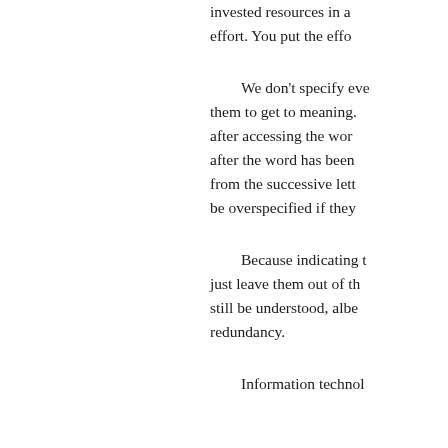invested resources in a... effort. You put the effo...
We don't specify eve... them to get to meaning... after accessing the wor... after the word has been... from the successive lett... be overspecified if they...
Because indicating t... just leave them out of th... still be understood, albe... redundancy.
Information technol...